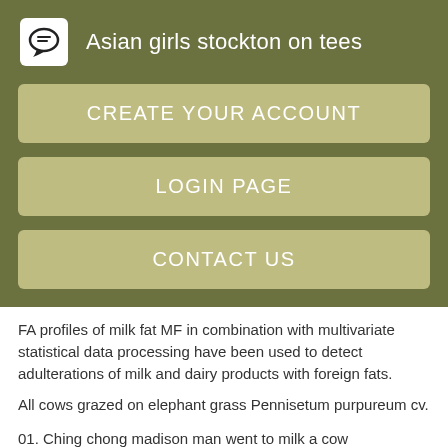Asian girls stockton on tees
CREATE YOUR ACCOUNT
LOGIN PAGE
CONTACT US
FA profiles of milk fat MF in combination with multivariate statistical data processing have been used to detect adulterations of milk and dairy products with foreign fats.
All cows grazed on elephant grass Pennisetum purpureum cv.
01. Ching chong madison man went to milk a cow
02. Sex 100 maple ridge
03. Ching chong madison man went to milk a cow
04. Black girls connecticut